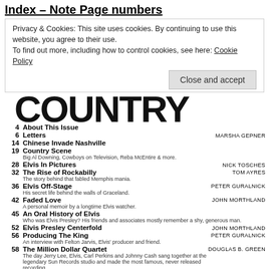Index – Note Page numbers
Privacy & Cookies: This site uses cookies. By continuing to use this website, you agree to their use.
To find out more, including how to control cookies, see here: Cookie Policy
Close and accept
[Figure (logo): Magazine logo in large stylized black lettering]
4  About This Issue
6  Letters  MARSHA GEPNER
14  Chinese Invade Nashville
19  Country Scene  Big Al Downing, Cowboys on Television, Reba McEntire & more.
28  Elvis In Pictures  NICK TOSCHES
32  The Rise of Rockabilly  The story behind that fabled Memphis mania.  TOM AYRES
36  Elvis Off-Stage  His secret life behind the walls of Graceland.  PETER GURALNICK
42  Faded Love  A personal memoir by a longtime Elvis watcher.  JOHN MORTHLAND
45  An Oral History of Elvis  Who was Elvis Presley? His friends and associates mostly remember a shy, generous man.
52  Elvis Presley Centerfold  JOHN MORTHLAND
56  Producing The King  An interview with Felton Jarvis, Elvis' producer and friend.  PETER GURALNICK
58  The Million Dollar Quartet  The day Jerry Lee, Elvis, Carl Perkins and Johnny Cash sang together at the legendary Sun Records studio and made the most famous, never released recording.  DOUGLAS B. GREEN
63  The Stamps  Memories of Elvis and Beyond.  MICHAEL BANE
68  A Return to Memphis  A nostalgic look at the home of the blues, the author and the king.  RICH KIENZLE
71  Elvis on Record  The King's best music.  WALTER DAWSON
76  Sunset